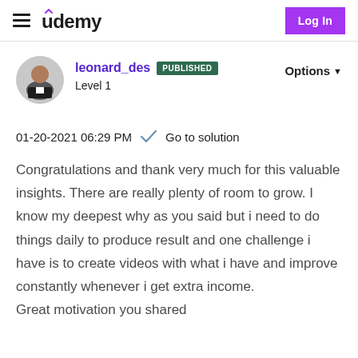Udemy — Log In
leonard_des PUBLISHED
Level 1
Options
01-20-2021 06:29 PM  ✓ Go to solution
Congratulations and thank very much for this valuable insights. There are really plenty of room to grow. I know my deepest why as you said but i need to do things daily to produce result and one challenge i have is to create videos with what i have and improve constantly whenever i get extra income.
Great motivation you shared